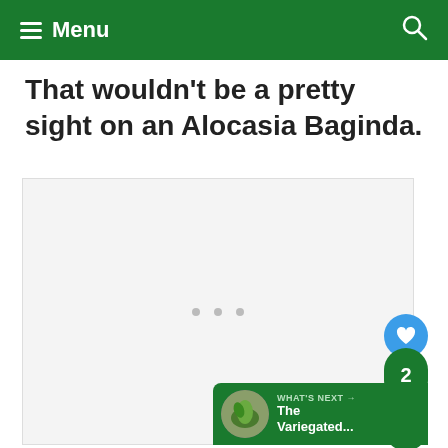Menu
That wouldn't be a pretty sight on an Alocasia Baginda.
[Figure (photo): Light gray placeholder image area with three small dots in the center, representing a loading or empty image state.]
WHAT'S NEXT → The Variegated...